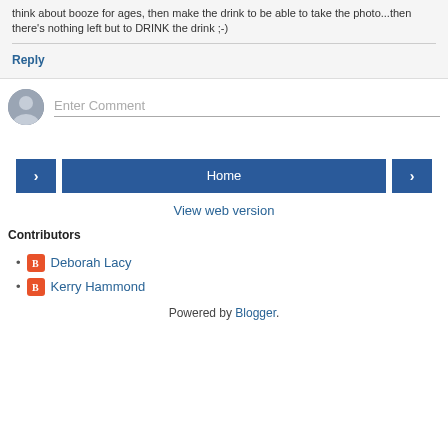think about booze for ages, then make the drink to be able to take the photo...then there's nothing left but to DRINK the drink ;-)
Reply
Enter Comment
[Figure (screenshot): Navigation bar with left arrow button, Home button, and right arrow button]
View web version
Contributors
Deborah Lacy
Kerry Hammond
Powered by Blogger.